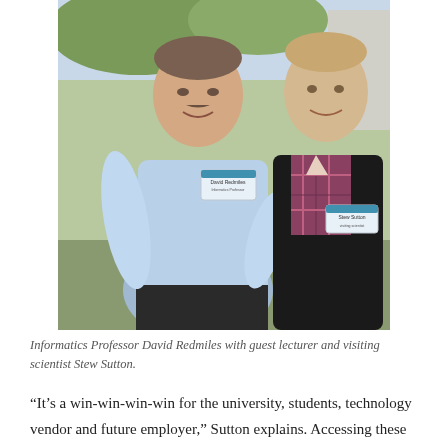[Figure (photo): Two men standing together outdoors smiling. The man on the left wears a light blue collared shirt with a name badge reading 'David Redmiles'. The man on the right wears a dark jacket over a plaid shirt with a name badge reading 'Stew Sutton'.]
Informatics Professor David Redmiles with guest lecturer and visiting scientist Stew Sutton.
“It’s a win-win-win-win for the university, students, technology vendor and future employer,” Sutton explains. Accessing these software licenses at no additional cost helps the university provide relevant, valued instruction, while also